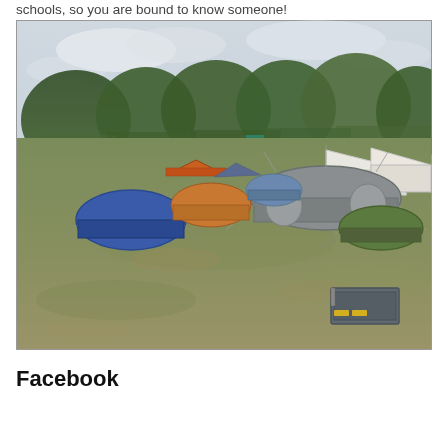schools, so you are bound to know someone!
[Figure (photo): Aerial or elevated view of a camping field with multiple tents of various sizes and colors (blue dome tent, grey tunnel tent, orange tent, green tent, large white marquee tents) on a green/brown grassy field, with trees in the background and an overcast sky.]
Facebook